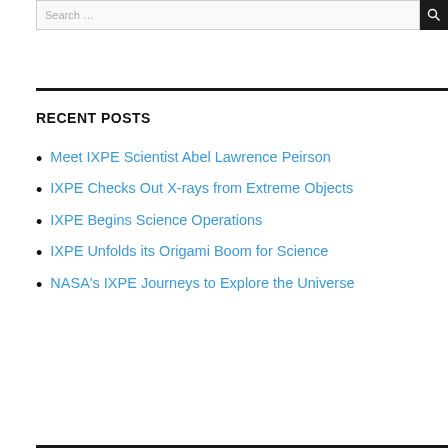Search ...
RECENT POSTS
Meet IXPE Scientist Abel Lawrence Peirson
IXPE Checks Out X-rays from Extreme Objects
IXPE Begins Science Operations
IXPE Unfolds its Origami Boom for Science
NASA's IXPE Journeys to Explore the Universe